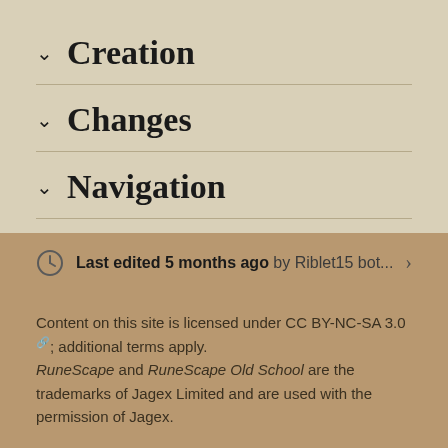Creation
Changes
Navigation
Last edited 5 months ago by Riblet15 bot...
Content on this site is licensed under CC BY-NC-SA 3.0; additional terms apply. RuneScape and RuneScape Old School are the trademarks of Jagex Limited and are used with the permission of Jagex.